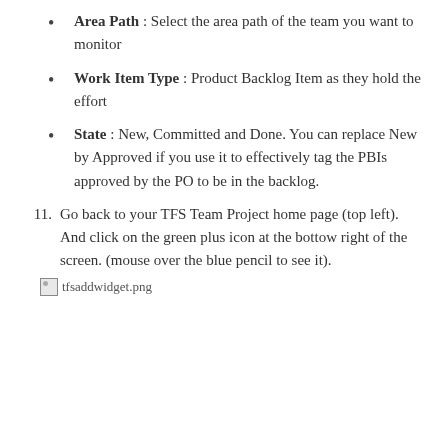Area Path : Select the area path of the team you want to monitor
Work Item Type : Product Backlog Item as they hold the effort
State : New, Committed and Done. You can replace New by Approved if you use it to effectively tag the PBIs approved by the PO to be in the backlog.
11. Go back to your TFS Team Project home page (top left). And click on the green plus icon at the bottow right of the screen. (mouse over the blue pencil to see it).
[Figure (illustration): Broken image placeholder for tfsaddwidget.png]